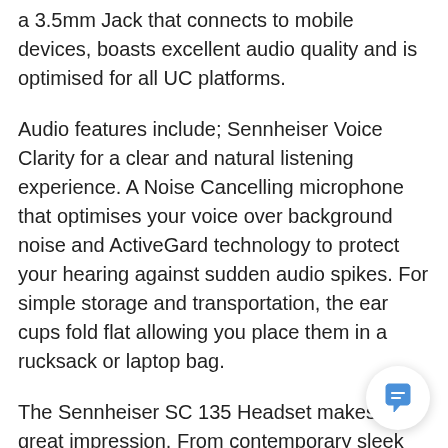a 3.5mm Jack that connects to mobile devices, boasts excellent audio quality and is optimised for all UC platforms.
Audio features include; Sennheiser Voice Clarity for a clear and natural listening experience. A Noise Cancelling microphone that optimises your voice over background noise and ActiveGard technology to protect your hearing against sudden audio spikes. For simple storage and transportation, the ear cups fold flat allowing you place them in a rucksack or laptop bag.
The Sennheiser SC 135 Headset makes a great impression. From contemporary sleek styling to great sound for calls and multimedia, it excels in all areas, on the move around the office or on your commute to work. The discreet boom arm design adjustable fit and comfortable Leatherette Ear